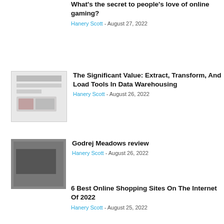What's the secret to people's love of online gaming?
Hanery Scott - August 27, 2022
[Figure (photo): Thumbnail image for article about data warehousing]
The Significant Value: Extract, Transform, And Load Tools In Data Warehousing
Hanery Scott - August 26, 2022
[Figure (photo): Thumbnail image for article about Godrej Meadows]
Godrej Meadows review
Hanery Scott - August 26, 2022
6 Best Online Shopping Sites On The Internet Of 2022
Hanery Scott - August 25, 2022